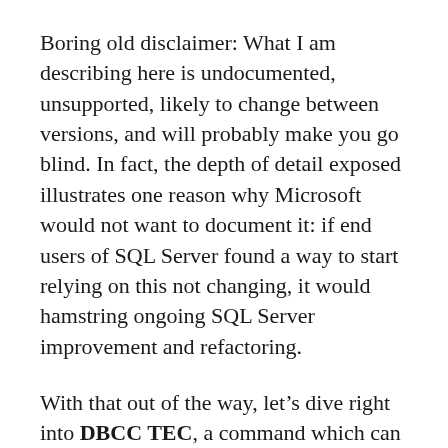Boring old disclaimer: What I am describing here is undocumented, unsupported, likely to change between versions, and will probably make you go blind. In fact, the depth of detail exposed illustrates one reason why Microsoft would not want to document it: if end users of SQL Server found a way to start relying on this not changing, it would hamstring ongoing SQL Server improvement and refactoring.
With that out of the way, let’s dive right into DBCC TEC, a command which can dump a significant chunk of the object tree supporting a SQL Server session. This result is the same thing that shows up within a dump file, namely the output of the CSession::Dump() function